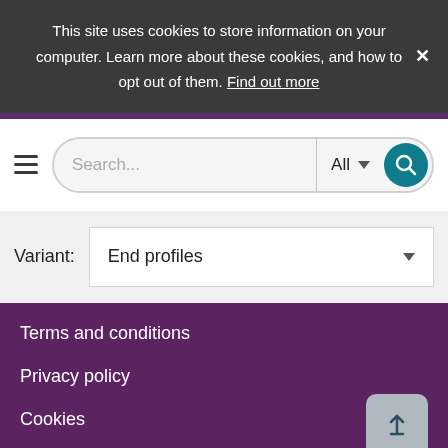This site uses cookies to store information on your computer. Learn more about these cookies, and how to opt out of them. Find out more
Search...
All
Variant:
End profiles
Terms and conditions
Privacy policy
Cookies